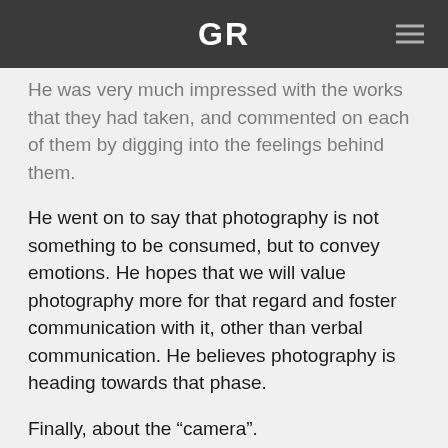GR
He was very much impressed with the works that they had taken, and commented on each of them by digging into the feelings behind them.
He went on to say that photography is not something to be consumed, but to convey emotions. He hopes that we will value photography more for that regard and foster communication with it, other than verbal communication. He believes photography is heading towards that phase.
Finally, about the “camera”.
Some cool and dry people say that cameras are a tool for taking pictures, but for him cameras are to warm your heart. One of his favorite things about GR is that if “his GR” is stolen and given a new one, he won’t like the new one because he likes HIS GR. He